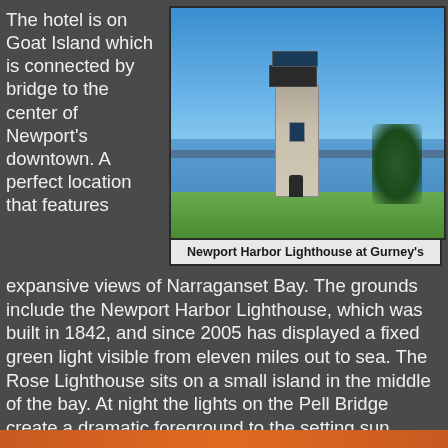The hotel is on Goat Island which is connected by bridge to the center of Newport's downtown.  A perfect location that features expansive views of Narraganset Bay.  The grounds include the Newport Harbor Lighthouse, which was built in 1842, and since 2005 has displayed a fixed green light visible from eleven miles out to sea.  The Rose Lighthouse sits on a small island in the middle of the bay.  At night the lights on the Pell Bridge create a dramatic foreground to the setting sun.
[Figure (photo): Photo of Newport Harbor Lighthouse at Gurney's — a stone lighthouse tower with trees and harbor water in background under blue sky]
Newport Harbor Lighthouse at Gurney's